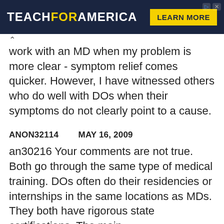[Figure (other): Teach For America advertisement banner with dark navy background, white and yellow logo text, and yellow 'LEARN MORE' button]
...only, as a patient, I have found it easier to work with an MD when my problem is more clear - symptom relief comes quicker. However, I have witnessed others who do well with DOs when their symptoms do not clearly point to a cause.
ANON32114    MAY 16, 2009
an30216 Your comments are not true. Both go through the same type of medical training. DOs often do their residencies or internships in the same locations as MDs. They both have rigorous state certifications. The main